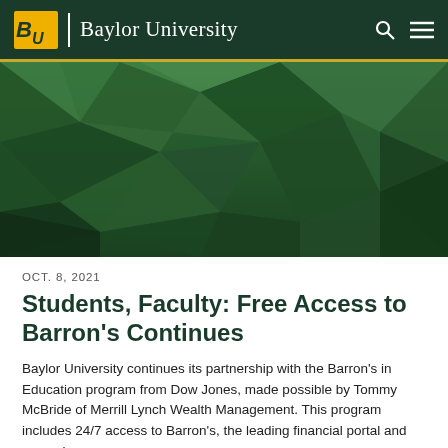Baylor University
[Figure (illustration): Green geometric polygon low-poly abstract background header image]
OCT. 8, 2021
Students, Faculty: Free Access to Barron's Continues
Baylor University continues its partnership with the Barron's in Education program from Dow Jones, made possible by Tommy McBride of Merrill Lynch Wealth Management. This program includes 24/7 access to Barron's, the leading financial portal and magazine.